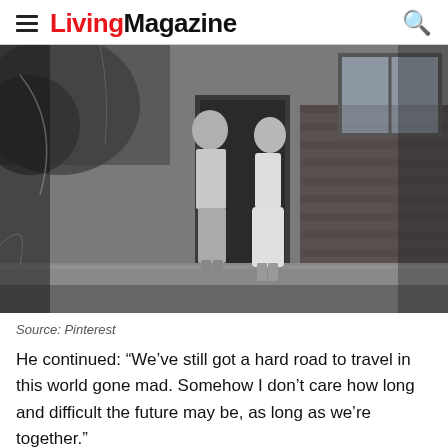Living Magazine
[Figure (photo): Black and white vintage photograph of a man and woman standing in front of a brick house doorway. The man is leaning against the wall wearing light trousers and shirt, and the woman is standing beside him in a light dress.]
Source: Pinterest
He continued: “We’ve still got a hard road to travel in this world gone mad. Somehow I don’t care how long and difficult the future may be, as long as we’re together.”
Olga and Cyril happen to be one couple of many whose